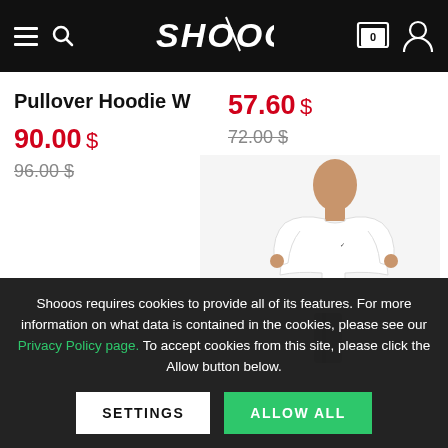SHOOOS
Pullover Hoodie W
90.00 $ / 96.00 $
57.60 $ / 72.00 $
[Figure (photo): Person wearing a white Nike t-shirt with grey pants]
Shooos requires cookies to provide all of its features. For more information on what data is contained in the cookies, please see our Privacy Policy page. To accept cookies from this site, please click the Allow button below.